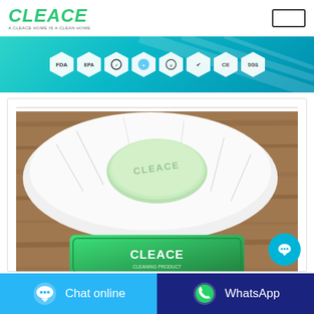[Figure (logo): CLEACE brand logo in green italic text with tagline 'A CLEACE HOME IS A CLEAN HOME']
[Figure (infographic): Teal banner with certification hexagonal badges: FDA, EPA, and 6 other certification logos including CE and SGS]
[Figure (photo): Product photo of a green CLEACE soap bar on a white towel on a wooden surface, with a CLEACE product package below]
Chat online
WhatsApp